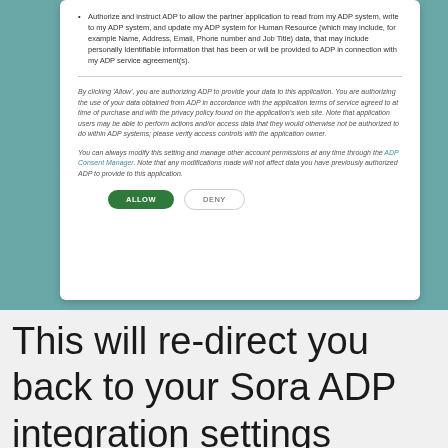[Figure (screenshot): ADP authorization modal dialog showing bullet point text about authorizing ADP to allow partner application to read/write to ADP system for Human Resource data, followed by italic consent text, a horizontal divider, and Allow/Deny buttons.]
This will re-direct you back to your Sora ADP integration settings page, where the Client ID and Client secret will now